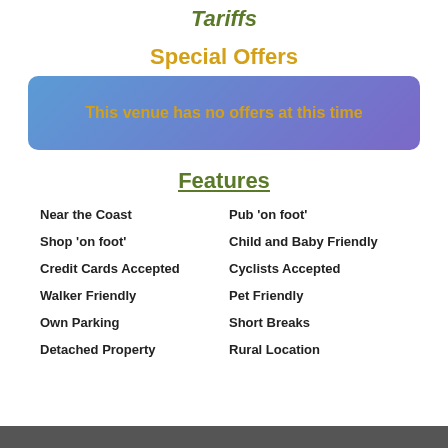Tariffs
Special Offers
This venue has no offers at this time
Features
Near the Coast
Pub 'on foot'
Shop 'on foot'
Child and Baby Friendly
Credit Cards Accepted
Cyclists Accepted
Walker Friendly
Pet Friendly
Own Parking
Short Breaks
Detached Property
Rural Location